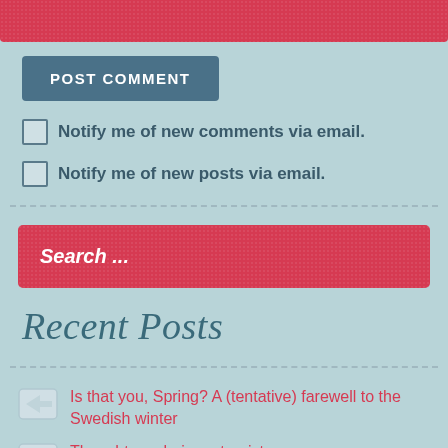[Figure (other): Red decorative bar at top of page]
POST COMMENT
Notify me of new comments via email.
Notify me of new posts via email.
[Figure (other): Search bar with placeholder text 'Search ...']
Recent Posts
Is that you, Spring? A (tentative) farewell to the Swedish winter
Thoughts on being a tourist